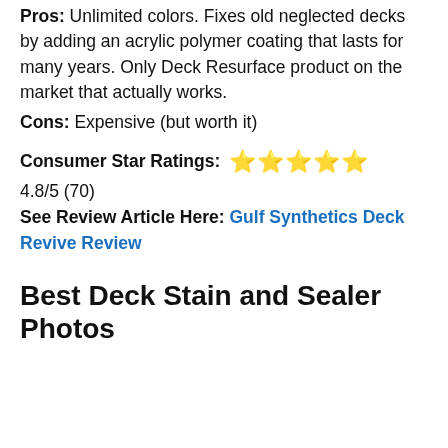Pros: Unlimited colors. Fixes old neglected decks by adding an acrylic polymer coating that lasts for many years. Only Deck Resurface product on the market that actually works.
Cons: Expensive (but worth it)
Consumer Star Ratings: ⭐⭐⭐⭐⭐ 4.8/5 (70)
See Review Article Here: Gulf Synthetics Deck Revive Review
Best Deck Stain and Sealer Photos